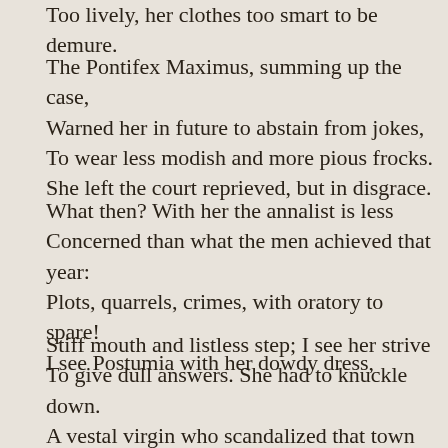Too lively, her clothes too smart to be demure.
The Pontifex Maximus, summing up the case,
Warned her in future to abstain from jokes,
To wear less modish and more pious frocks.
She left the court reprieved, but in disgrace.
What then? With her the annalist is less
Concerned than what the men achieved that year:
Plots, quarrels, crimes, with oratory to spare!
I see Postumia with her dowdy dress,
Stiff mouth and listless step; I see her strive
To give dull answers. She had to knuckle down.
A vestal virgin who scandalized that town
Had fair trial, then they buried her alive.